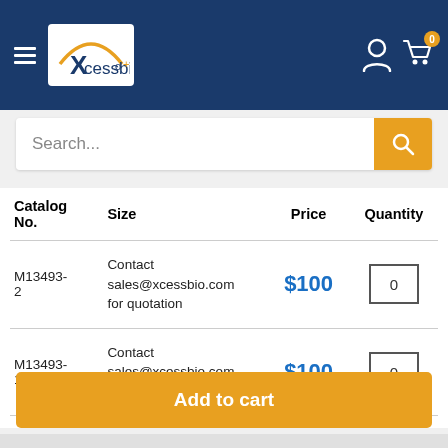[Figure (screenshot): Xcessbio website header with hamburger menu, logo, user icon, and cart icon with badge showing 0]
Search...
| Catalog No. | Size | Price | Quantity |
| --- | --- | --- | --- |
| M13493-2 | Contact sales@xcessbio.com for quotation | $100 | 0 |
| M13493-10 | Contact sales@xcessbio.com for quotation | $100 | 0 |
Add to cart